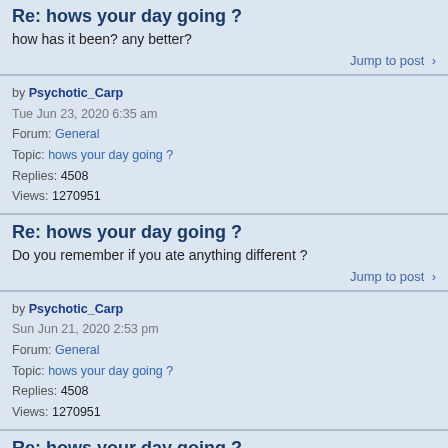Re: hows your day going ?
how has it been? any better?
Jump to post
by Psychotic_Carp
Tue Jun 23, 2020 6:35 am
Forum: General
Topic: hows your day going ?
Replies: 4508
Views: 1270951
Re: hows your day going ?
Do you remember if you ate anything different ?
Jump to post
by Psychotic_Carp
Sun Jun 21, 2020 2:53 pm
Forum: General
Topic: hows your day going ?
Replies: 4508
Views: 1270951
Re: hows your day going ?
the pandemic didnt really hit me I was pretty low for so long it wasnt a big hit to me....
Have you had any issues lately?
Jump to post